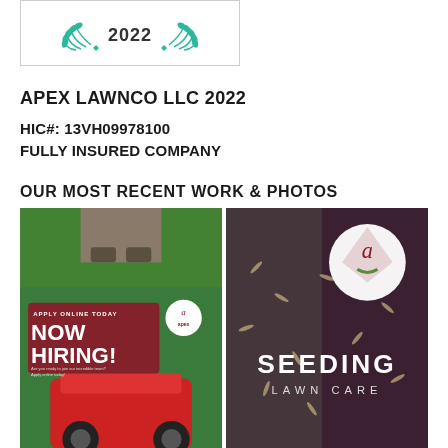[Figure (logo): Award badge with teal laurel branches and '2022' text in the center, inside a bordered box]
APEX LAWNCO LLC 2022
HIC#: 13VH09978100
FULLY INSURED COMPANY
OUR MOST RECENT WORK & PHOTOS
[Figure (photo): Left photo: lawn care worker feet on grass, red hedge trimmer in foreground, 'NOW HIRING!' promotional overlay with Apex Lawnco logo]
[Figure (photo): Right photo: dark soil with seeds, 'SEEDING LAWN CARE' text overlay, Apex Lawnco 'a' logo circle at top]